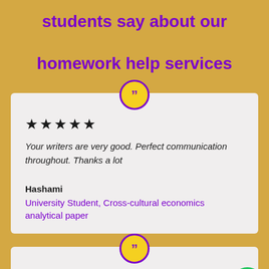students say about our homework help services
★★★★★
Your writers are very good. Perfect communication throughout. Thanks a lot
Hashami
University Student, Cross-cultural economics analytical paper